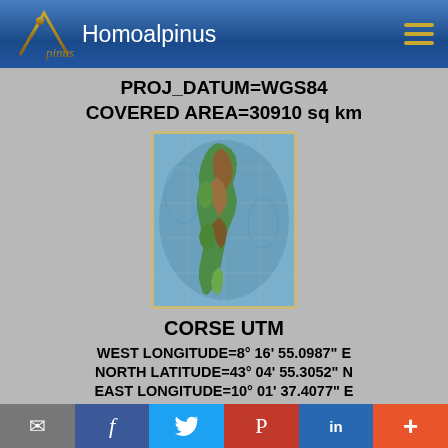Homoalpinus
PROJ_DATUM=WGS84
COVERED AREA=30910 sq km
[Figure (map): Topographic/bathymetric map of Corsica (Corse) showing elevation and sea depth, with the island landmass rendered in greens and browns, surrounded by blue sea with depth shading.]
CORSE UTM
WEST LONGITUDE=8° 16' 55.0987" E
NORTH LATITUDE=43° 04' 55.3052" N
EAST LONGITUDE=10° 01' 37.4077" E
SOUTH LATITUDE=41° 07' 5.7041" N
✉  f  Twitter  P  in  +